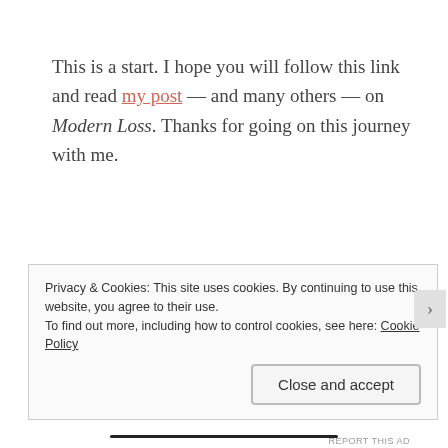This is a start. I hope you will follow this link and read my post — and many others — on Modern Loss. Thanks for going on this journey with me.
Privacy & Cookies: This site uses cookies. By continuing to use this website, you agree to their use.
To find out more, including how to control cookies, see here: Cookie Policy
Close and accept